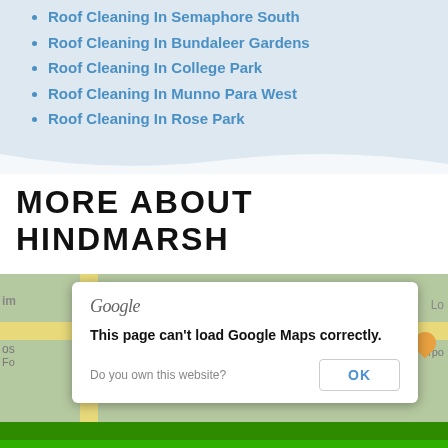Roof Cleaning In Semaphore South
Roof Cleaning In Bundaleer Gardens
Roof Cleaning In College Park
Roof Cleaning In Munno Para West
Roof Cleaning In Rose Park
MORE ABOUT HINDMARSH
[Figure (screenshot): Google Maps embed showing a dialog box: 'Google' logo, message 'This page can't load Google Maps correctly.', 'Do you own this website?' with an OK button. Map background visible behind dialog.]
Call Now